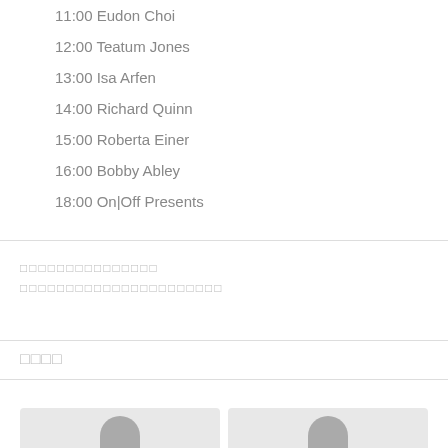11:00 Eudon Choi
12:00 Teatum Jones
13:00 Isa Arfen
14:00 Richard Quinn
15:00 Roberta Einer
16:00 Bobby Abley
18:00 On|Off Presents
[redacted line 1]
[redacted line 2]
[redacted]
[Figure (photo): Two portrait photos side by side at the bottom of the page]